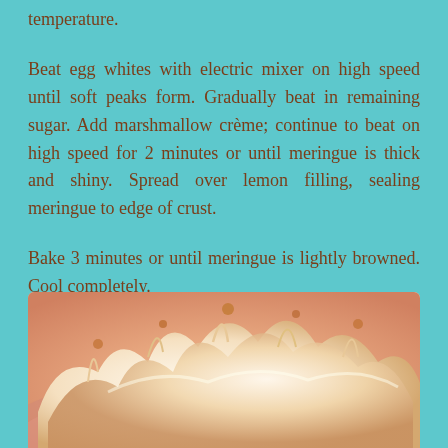temperature.
Beat egg whites with electric mixer on high speed until soft peaks form. Gradually beat in remaining sugar. Add marshmallow crème; continue to beat on high speed for 2 minutes or until meringue is thick and shiny. Spread over lemon filling, sealing meringue to edge of crust.
Bake 3 minutes or until meringue is lightly browned. Cool completely.
[Figure (photo): Close-up photo of baked meringue topping on a pie, showing golden-browned peaks of meringue over a light filling on a pink/peach crust background.]